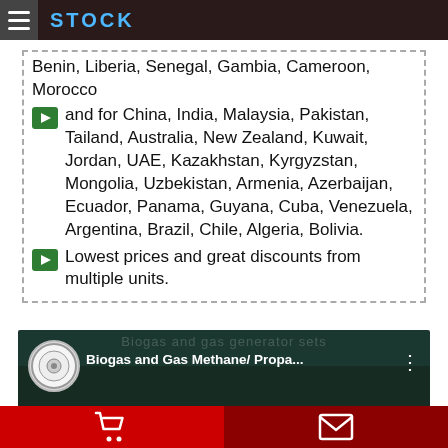STOCK
Benin, Liberia, Senegal, Gambia, Cameroon, Morocco
and for China, India, Malaysia, Pakistan, Tailand, Australia, New Zealand, Kuwait, Jordan, UAE, Kazakhstan, Kyrgyzstan, Mongolia, Uzbekistan, Armenia, Azerbaijan, Ecuador, Panama, Guyana, Cuba, Venezuela, Argentina, Brazil, Chile, Algeria, Bolivia.
Lowest prices and great discounts from multiple units.
[Figure (screenshot): Video thumbnail showing 'Biogas and Gas Methane/ Propa...' with a circular logo and dark green background with industrial machinery]